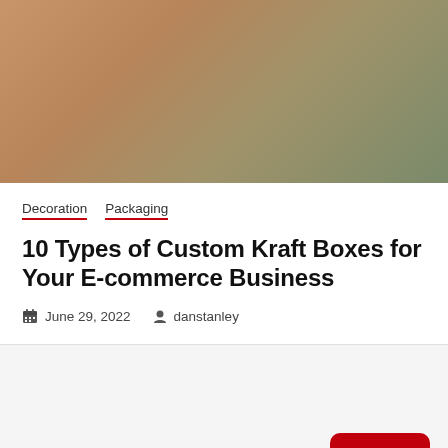[Figure (photo): Hero image with warm golden-brown to olive-green gradient background, representing a decorative/packaging theme]
Decoration   Packaging
10 Types of Custom Kraft Boxes for Your E-commerce Business
June 29, 2022   danstanley